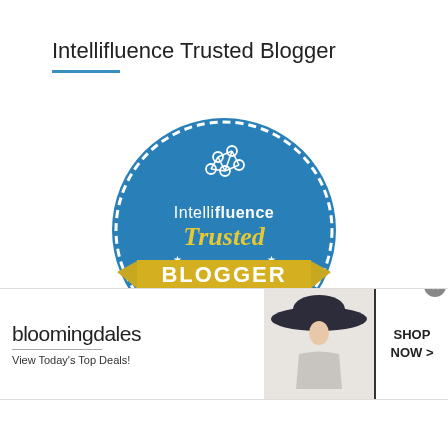Intellifluence Trusted Blogger
[Figure (logo): Intellifluence Trusted Blogger badge: circular blue seal with scalloped edge, brain/network icon at top, 'Intellifluence' in white text, 'Trusted' in yellow italic script, gold ribbon banner across bottom with 'BLOGGER' in white bold uppercase, white stars decorating the badge]
[Figure (infographic): Bloomingdale's advertisement banner showing brand name in light font, 'View Today's Top Deals!' tagline, a woman in wide-brim hat, and 'SHOP NOW >' call-to-action button]